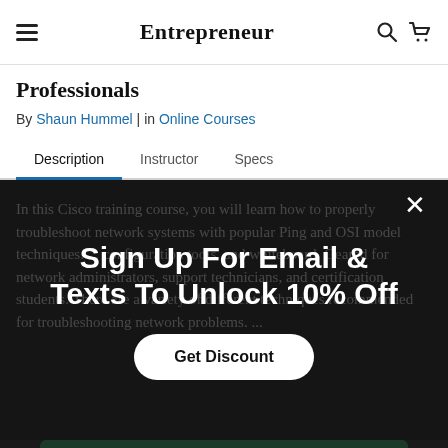Entrepreneur
Professionals
By Shaun Hummel | in Online Courses
Description | Instructor | Specs
In this Cisco training course, you will learn how to properly troubleshoot network systems with popular Ping and OSI model techniques. ... configuration tools, and whiteboard. Geared for network administrators, support technicians, and certification students. There are a variety of different techniques recommended for troubleshooting network problems. ...
Sign Up For Email & Texts To Unlock 10% Off
Get Discount
VIEW SIMILAR ITEMS